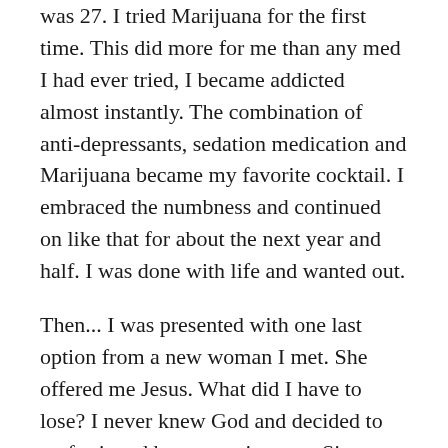was 27. I tried Marijuana for the first time. This did more for me than any med I had ever tried, I became addicted almost instantly. The combination of anti-depressants, sedation medication and Marijuana became my favorite cocktail. I embraced the numbness and continued on like that for about the next year and half. I was done with life and wanted out.
Then... I was presented with one last option from a new woman I met. She offered me Jesus. What did I have to lose? I never knew God and decided to go for it and began my journey. Since beginning a personal relationship with God in April 2013 my life has changed forever.
After 17 years on medications, I am medication free! The drug addiction I struggled with is done. I feel joy and happiness for the first time in my life and no longer